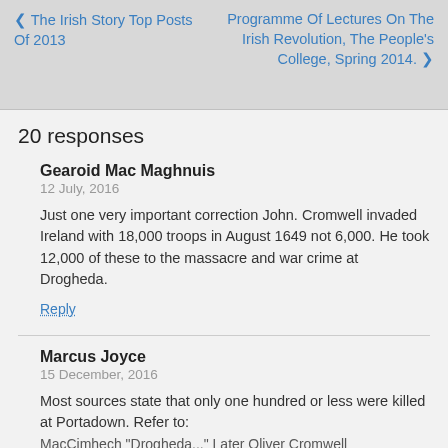❮ The Irish Story Top Posts Of 2013   Programme Of Lectures On The Irish Revolution, The People's College, Spring 2014. ❯
20 responses
Gearoid Mac Maghnuis
12 July, 2016

Just one very important correction John. Cromwell invaded Ireland with 18,000 troops in August 1649 not 6,000. He took 12,000 of these to the massacre and war crime at Drogheda.

Reply
Marcus Joyce
15 December, 2016

Most sources state that only one hundred or less were killed at Portadown. Refer to: